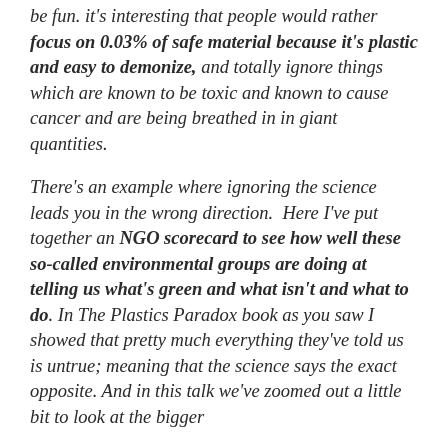be fun. it's interesting that people would rather focus on 0.03% of safe material because it's plastic and easy to demonize, and totally ignore things which are known to be toxic and known to cause cancer and are being breathed in in giant quantities.
There's an example where ignoring the science leads you in the wrong direction.  Here I've put together an NGO scorecard to see how well these so-called environmental groups are doing at telling us what's green and what isn't and what to do. In The Plastics Paradox book as you saw I showed that pretty much everything they've told us is untrue; meaning that the science says the exact opposite. And in this talk we've zoomed out a little bit to look at the bigger